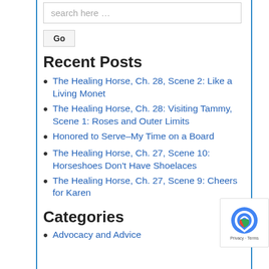search here …
Go
Recent Posts
The Healing Horse, Ch. 28, Scene 2: Like a Living Monet
The Healing Horse, Ch. 28: Visiting Tammy, Scene 1: Roses and Outer Limits
Honored to Serve–My Time on a Board
The Healing Horse, Ch. 27, Scene 10: Horseshoes Don't Have Shoelaces
The Healing Horse, Ch. 27, Scene 9: Cheers for Karen
Categories
Advocacy and Advice